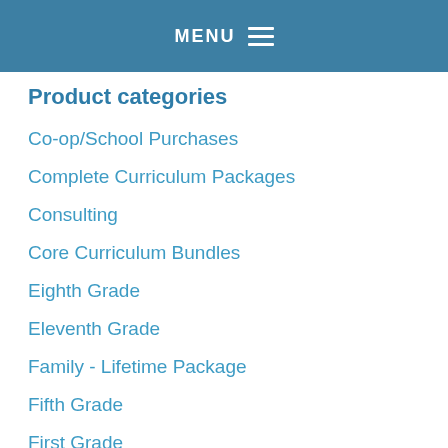MENU
Product categories
Co-op/School Purchases
Complete Curriculum Packages
Consulting
Core Curriculum Bundles
Eighth Grade
Eleventh Grade
Family - Lifetime Package
Fifth Grade
First Grade
Fourth Grade
Herb'n Kids